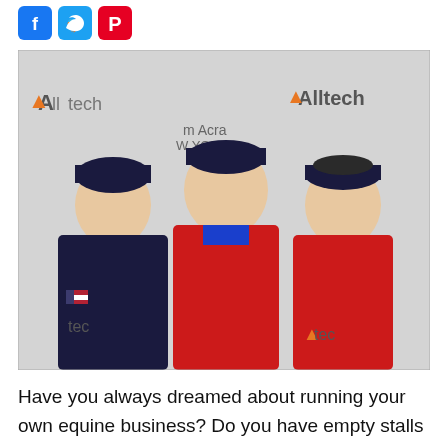[Figure (photo): Three men posing together in front of Alltech and Madison Square Garden New York branded backdrop. Left man wears dark navy jacket with US flag patch, center and right men wear red equestrian jackets.]
Have you always dreamed about running your own equine business? Do you have empty stalls in your